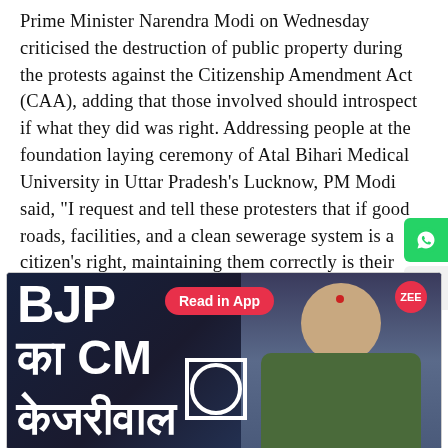Prime Minister Narendra Modi on Wednesday criticised the destruction of public property during the protests against the Citizenship Amendment Act (CAA), adding that those involved should introspect if what they did was right. Addressing people at the foundation laying ceremony of Atal Bihari Medical University in Uttar Pradesh's Lucknow, PM Modi said, "I request and tell these protesters that if good roads, facilities, and a clean sewerage system is a citizen's right, maintaining them correctly is their responsibility as well. Everyone who has protested violently and has vandalized property in recent times must ask himself, was this the right way?"
[Figure (screenshot): News video thumbnail showing text 'BJP का CM केजरीवाल' with a woman's face on the right, a 'Read in App' button overlay, and ZEE logo badge]